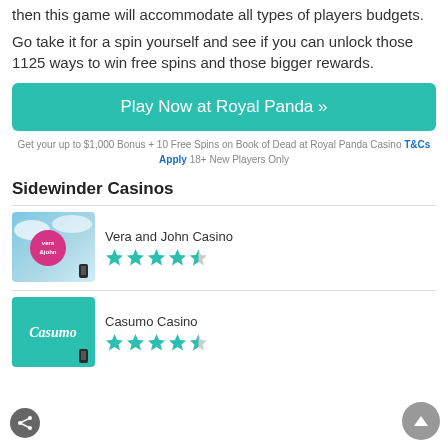then this game will accommodate all types of players budgets.
Go take it for a spin yourself and see if you can unlock those 1125 ways to win free spins and those bigger rewards.
Play Now at Royal Panda »
Get your up to $1,000 Bonus + 10 Free Spins on Book of Dead at Royal Panda Casino T&Cs Apply 18+ New Players Only
Sidewinder Casinos
Vera and John Casino
[Figure (illustration): Vera and John Casino logo with pink circle on blue sky background and phone icon]
Casumo Casino
[Figure (illustration): Casumo Casino logo on teal background with phone icon]